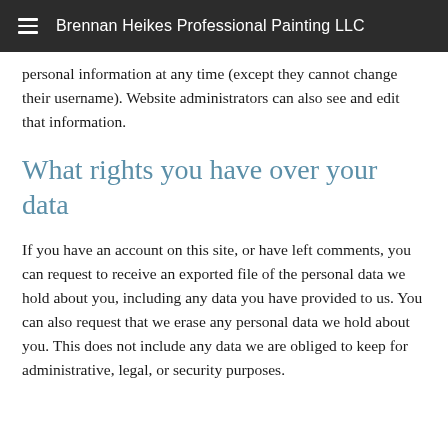Brennan Heikes Professional Painting LLC
personal information at any time (except they cannot change their username). Website administrators can also see and edit that information.
What rights you have over your data
If you have an account on this site, or have left comments, you can request to receive an exported file of the personal data we hold about you, including any data you have provided to us. You can also request that we erase any personal data we hold about you. This does not include any data we are obliged to keep for administrative, legal, or security purposes.